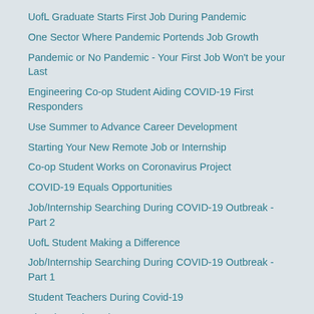UofL Graduate Starts First Job During Pandemic
One Sector Where Pandemic Portends Job Growth
Pandemic or No Pandemic - Your First Job Won't be your Last
Engineering Co-op Student Aiding COVID-19 First Responders
Use Summer to Advance Career Development
Starting Your New Remote Job or Internship
Co-op Student Works on Coronavirus Project
COVID-19 Equals Opportunities
Job/Internship Searching During COVID-19 Outbreak - Part 2
UofL Student Making a Difference
Job/Internship Searching During COVID-19 Outbreak - Part 1
Student Teachers During Covid-19
Virtual Meeting Etiquette
Employers are Hiring Despite COVID-19
Student Interns with Kentucky Refugee Ministries